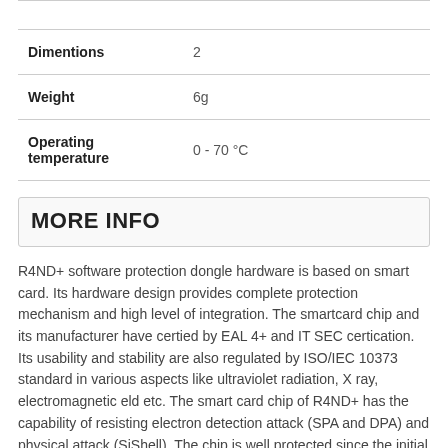| Property | Value |
| --- | --- |
| Dimentions | 2 |
| Weight | 6g |
| Operating temperature | 0 - 70 °C |
MORE INFO
R4ND+ software protection dongle hardware is based on smart card. Its hardware design provides complete protection mechanism and high level of integration. The smartcard chip and its manufacturer have certied by EAL 4+ and IT SEC certication. Its usability and stability are also regulated by ISO/IEC 10373 standard in various aspects like ultraviolet radiation, X ray, electromagnetic eld etc. The smart card chip of R4ND+ has the capability of resisting electron detection attack (SPA and DPA) and physical attack (SiShell). The chip is well protected since the initial designing period. By generating noisy and interfering signal technique, adding lter circuit to reduce noise signal and applying